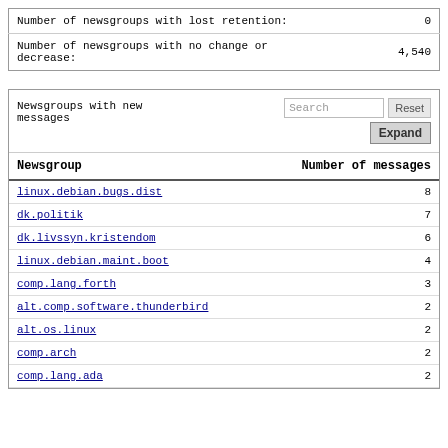| Description | Value |
| --- | --- |
| Number of newsgroups with lost retention: | 0 |
| Number of newsgroups with no change or decrease: | 4,540 |
| Newsgroup | Number of messages |
| --- | --- |
| linux.debian.bugs.dist | 8 |
| dk.politik | 7 |
| dk.livssyn.kristendom | 6 |
| linux.debian.maint.boot | 4 |
| comp.lang.forth | 3 |
| alt.comp.software.thunderbird | 2 |
| alt.os.linux | 2 |
| comp.arch | 2 |
| comp.lang.ada | 2 |